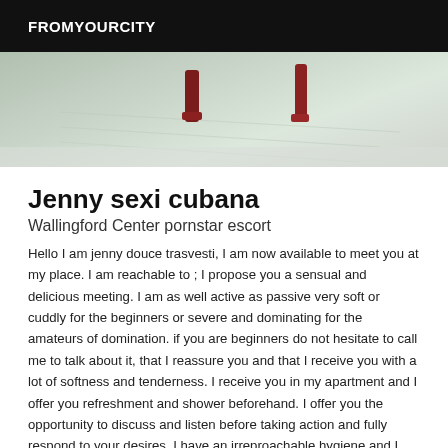FROMYOURCITY
[Figure (photo): Partial photo showing legs/shoes on a light background, cropped at the top]
Jenny sexi cubana
Wallingford Center pornstar escort
Hello I am jenny douce trasvesti, I am now available to meet you at my place. I am reachable to ; I propose you a sensual and delicious meeting. I am as well active as passive very soft or cuddly for the beginners or severe and dominating for the amateurs of domination. if you are beginners do not hesitate to call me to talk about it, that I reassure you and that I receive you with a lot of softness and tenderness. I receive you in my apartment and I offer you refreshment and shower beforehand. I offer you the opportunity to discuss and listen before taking action and fully respond to your desires. I have an irreproachable hygiene and I expect the same from you.